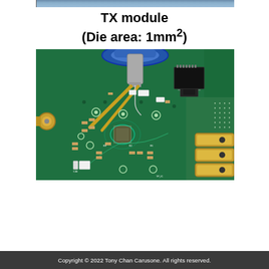TX module (Die area: 1mm²)
[Figure (photo): Close-up photograph of a green PCB (printed circuit board) TX module being probed with gold-colored probe tips. The board contains various SMD components, connectors, test points, and gold SMA connectors on the right side. A blue ring/collar probe tool is visible at the top. The board is densely populated with resistors, capacitors, and ICs.]
Copyright © 2022 Tony Chan Carusone. All rights reserved.